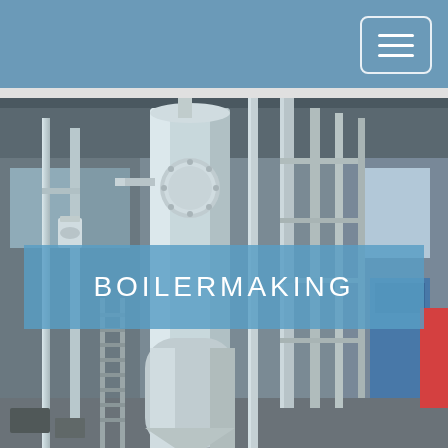[Figure (photo): Industrial boilermaking facility showing large stainless steel tanks, pipes, valves, and processing equipment inside a warehouse/factory setting. Multiple cylindrical pressure vessels and interconnected piping are visible.]
BOILERMAKING